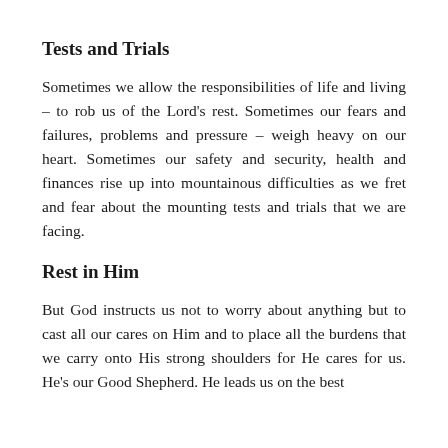Tests and Trials
Sometimes we allow the responsibilities of life and living – to rob us of the Lord's rest. Sometimes our fears and failures, problems and pressure – weigh heavy on our heart. Sometimes our safety and security, health and finances rise up into mountainous difficulties as we fret and fear about the mounting tests and trials that we are facing.
Rest in Him
But God instructs us not to worry about anything but to cast all our cares on Him and to place all the burdens that we carry onto His strong shoulders for He cares for us. He's our Good Shepherd. He leads us on the best